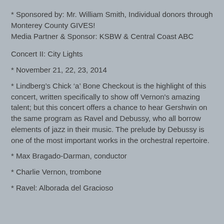* Sponsored by: Mr. William Smith, Individual donors through Monterey County GIVES!
Media Partner & Sponsor: KSBW & Central Coast ABC
Concert II: City Lights
* November 21, 22, 23, 2014
* Lindberg’s Chick ‘a’ Bone Checkout is the highlight of this concert, written specifically to show off Vernon's amazing talent; but this concert offers a chance to hear Gershwin on the same program as Ravel and Debussy, who all borrow elements of jazz in their music. The prelude by Debussy is one of the most important works in the orchestral repertoire.
* Max Bragado-Darman, conductor
* Charlie Vernon, trombone
* Ravel: Alborada del Gracioso